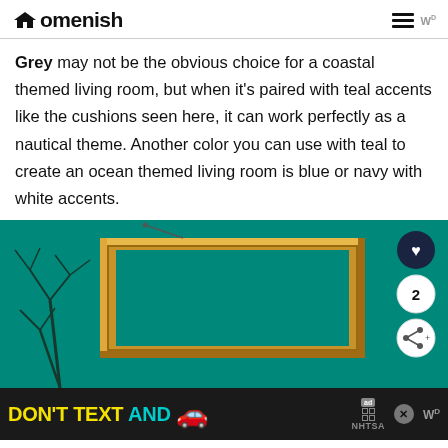Homenish
Grey may not be the obvious choice for a coastal themed living room, but when it's paired with teal accents like the cushions seen here, it can work perfectly as a nautical theme. Another color you can use with teal to create an ocean themed living room is blue or navy with white accents.
[Figure (photo): Photo of a teal/green wall with a gold ornate empty picture frame hanging on it, with dark dried plant branches on the left side. Social interaction buttons (heart, count 2, share) on the right edge.]
[Figure (infographic): Ad banner: DON'T TEXT AND [car emoji], NHTSA advertisement on dark background with yellow and cyan text.]